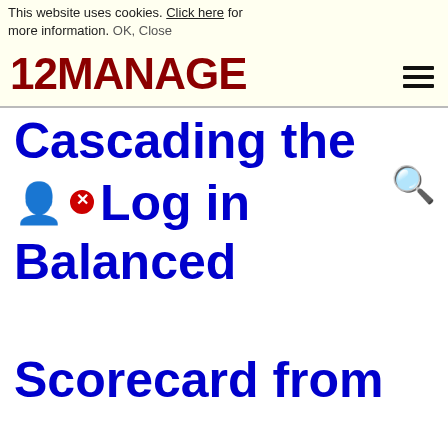This website uses cookies. Click here for more information. OK, Close | 12MANAGE [hamburger menu]
Cascading the Balanced Scorecard from Corporate Level to Business Levels to Individual Level